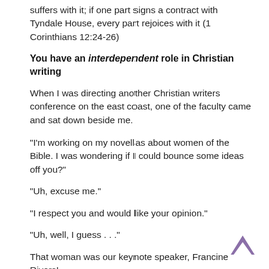suffers with it; if one part signs a contract with Tyndale House, every part rejoices with it (1 Corinthians 12:24-26)
You have an interdependent role in Christian writing
When I was directing another Christian writers conference on the east coast, one of the faculty came and sat down beside me.
“I’m working on my novellas about women of the Bible. I was wondering if I could bounce some ideas off you?”
“Uh, excuse me.”
“I respect you and would like your opinion.”
“Uh, well, I guess . . .”
That woman was our keynote speaker, Francine Rivers!